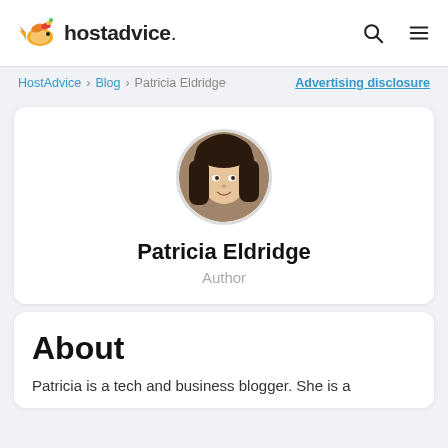hostadvice. [search icon] [menu icon]
HostAdvice > Blog > Patricia Eldridge  Advertising disclosure
[Figure (photo): Circular profile photo of Patricia Eldridge, a young woman with long dark hair, smiling]
Patricia Eldridge
Author
About
Patricia is a tech and business blogger. She is a